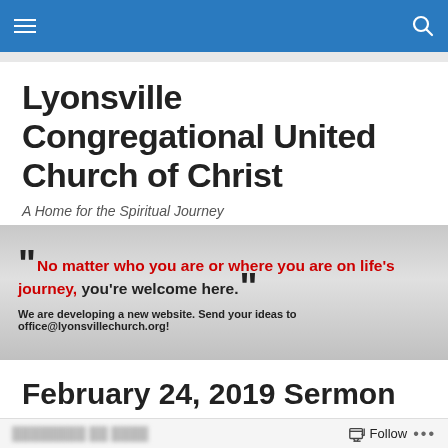Navigation bar with menu and search icons
Lyonsville Congregational United Church of Christ
A Home for the Spiritual Journey
[Figure (infographic): Church banner with large bold text: 'No matter who you are or where you are on life's journey, you're welcome here.' (red and dark text on gray gradient background) and subtitle: 'We are developing a new website. Send your ideas to office@lyonsvillechurch.org!']
February 24, 2019 Sermon
Follow ...